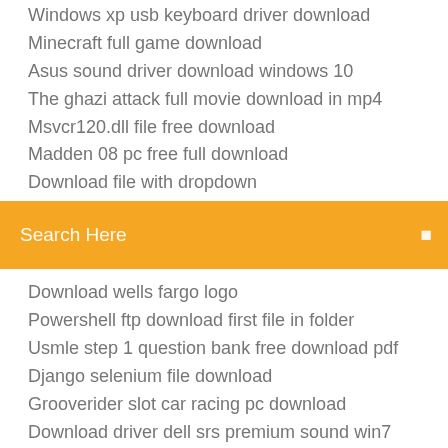Windows xp usb keyboard driver download
Minecraft full game download
Asus sound driver download windows 10
The ghazi attack full movie download in mp4
Msvcr120.dll file free download
Madden 08 pc free full download
Download file with dropdown
[Figure (screenshot): Orange search bar with text 'Search Here' and a search icon on the right]
Download wells fargo logo
Powershell ftp download first file in folder
Usmle step 1 question bank free download pdf
Django selenium file download
Grooverider slot car racing pc download
Download driver dell srs premium sound win7
Liberty city for pc free download youtube
Emotionally healthy spirituality book pdf download